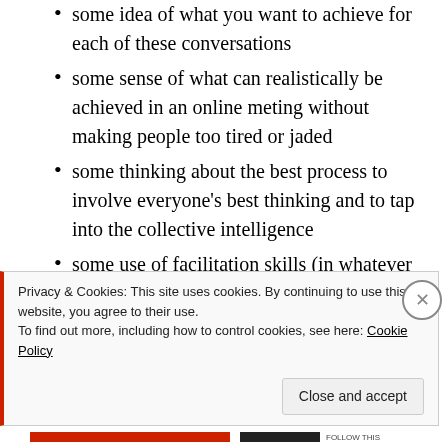some idea of what you want to achieve for each of these conversations
some sense of what can realistically be achieved in an online meting without making people too tired or jaded
some thinking about the best process to involve everyone's best thinking and to tap into the collective intelligence
some use of facilitation skills (in whatever configuration) to hold all of this together
some preparation by the participants to also make the most of their time together
Privacy & Cookies: This site uses cookies. By continuing to use this website, you agree to their use. To find out more, including how to control cookies, see here: Cookie Policy
Close and accept